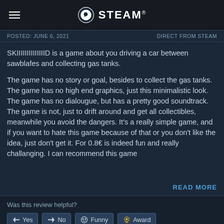STEAM
POSTED: JUNE 6, 2021    DIRECT FROM STEAM
SKIIIIIIIIIIIIIID is a game about you driving a car between sawblafes and collecting gas tanks.
The game has no story or goal, besides to collect the gas tanks. The game has no high end graphics, just this minimalistic look. The game has no dialougue, but has a pretty good soundtrack. The game is not, just to drift around and get all collectibles, meanwhile you avoid the dangers. It's a really simple game, and if you want to hate this game because of that or you don't like the idea, just don't get it. For 0.8€ is indeed fun and really challanging. I can recommend this game
READ MORE
Was this review helpful?
Yes  No  Funny  Award
1 person found this review helpful